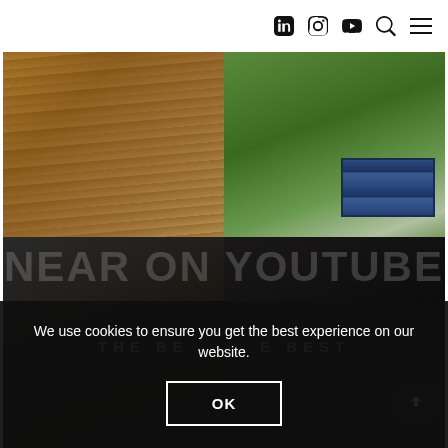Navigation bar with LinkedIn, Instagram, YouTube, Search, and Menu icons
[Figure (photo): Two-panel photo collage: left panel shows wooden interior ceiling with pendant lights; right panel shows outdoor view with trees and solar panels on a roof]
[Figure (photo): Bottom dark panel with large semi-transparent overlay text reading 'Near on YouTube' and subtitle 'THE BE...E BEST']
We use cookies to ensure you get the best experience on our website.
OK